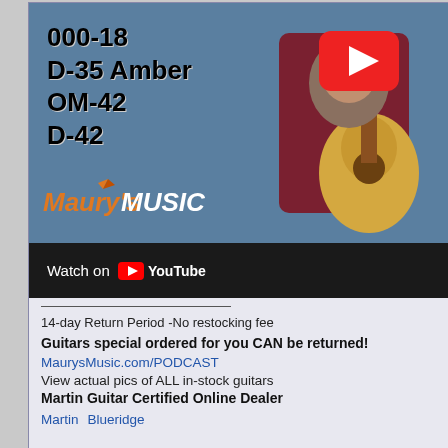[Figure (screenshot): YouTube video thumbnail showing a man playing an acoustic guitar with text overlay listing guitar models: 000-18, D-35 Amber, OM-42, D-42, and Maury's Music logo. A red YouTube play button is visible. Below is a black bar with 'Watch on YouTube' text.]
14-day Return Period -No restocking fee
Guitars special ordered for you CAN be returned!
MaurysMusic.com/PODCAST
View actual pics of ALL in-stock guitars
Martin Guitar Certified Online Dealer
Martin  Blueridge
10-06-2020, 12:40 PM
MaurysMusic
AGF Sponsor
Join Date: S
Location: C
Posts: 3,64